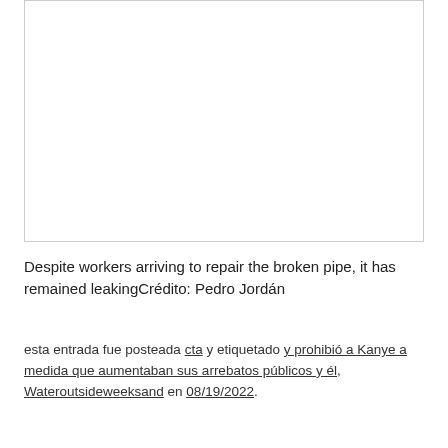[Figure (photo): White rectangular image box with border, appears to show a blank or mostly white image area]
Despite workers arriving to repair the broken pipe, it has remained leakingCrédito: Pedro Jordán
esta entrada fue posteada cta y etiquetado y prohibió a Kanye a medida que aumentaban sus arrebatos públicos y él, Wateroutsideweeksand en 08/19/2022.